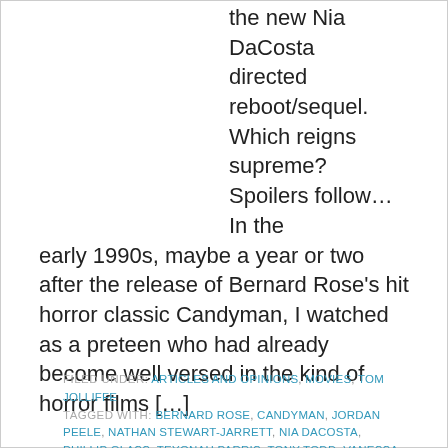the new Nia DaCosta directed reboot/sequel. Which reigns supreme? Spoilers follow… In the early 1990s, maybe a year or two after the release of Bernard Rose's hit horror classic Candyman, I watched as a preteen who had already become well versed in the kind of horror films […]
FILED UNDER: ARTICLES AND OPINIONS, MOVIES, TOM JOLLIFFE
TAGGED WITH: BERNARD ROSE, CANDYMAN, JORDAN PEELE, NATHAN STEWART-JARRETT, NIA DACOSTA, PHILLIP GLASS, TEYONAH PARRIS, TONY TODD, VANESSA WILLIAMS, VIRGINIA MADSEN, YAHYA ABDUL-MATEEN II